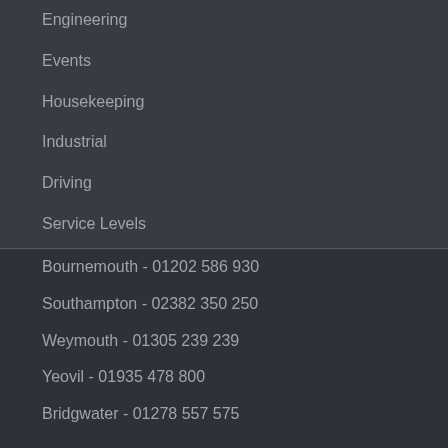Engineering
Events
Housekeeping
Industrial
Driving
Service Levels
Bournemouth - 01202 586 930
Southampton - 02382 350 250
Weymouth - 01305 239 239
Yeovil - 01935 478 800
Bridgwater - 01278 557 575